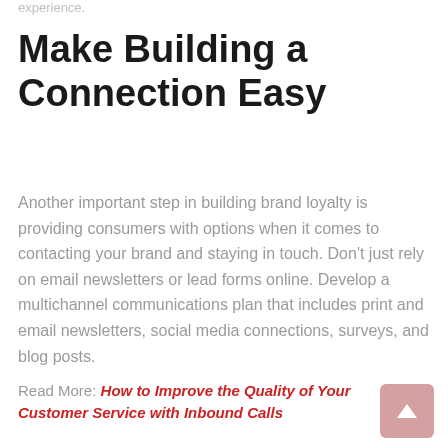experience.
Make Building a Connection Easy
Another important step in building brand loyalty is providing consumers with options when it comes to contacting your brand and staying in touch. Don't just rely on email newsletters or lead forms online. Develop a multichannel communications plan that includes print and email newsletters, social media connections, surveys, and blog posts.
Read More: How to Improve the Quality of Your Customer Service with Inbound Calls